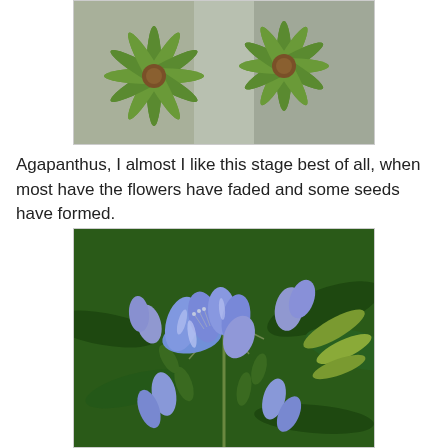[Figure (photo): Close-up photo of green star-shaped rosette plants with dried brown centers, viewed from above on a stone surface]
Agapanthus, I almost I like this stage best of all, when most have the flowers have faded and some seeds have formed.
[Figure (photo): Close-up photo of blue agapanthus flowers with elongated petals and green seed pods among dark green foliage]